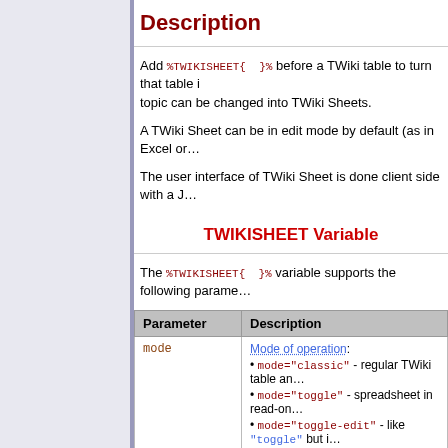Description
Add %TWIKISHEET{ }% before a TWiki table to turn that table into a TWiki Sheet. Any TWiki table in the topic can be changed into TWiki Sheets.
A TWiki Sheet can be in edit mode by default (as in Excel or
The user interface of TWiki Sheet is done client side with a J
TWIKISHEET Variable
The %TWIKISHEET{ }% variable supports the following parame
| Parameter | Description |
| --- | --- |
| mode | Mode of operation:
• mode="classic" - regular TWiki table an
• mode="toggle" - spreadsheet in read-on
• mode="toggle-edit" - like "toggle" but i
• mode="edit" - the table is always in spre |
| concurrent | Concurrent editing. If enabled, multiple pe pasting a range of cells, drag-filling cells,
• concurrent="0" - disable concurrent edi |